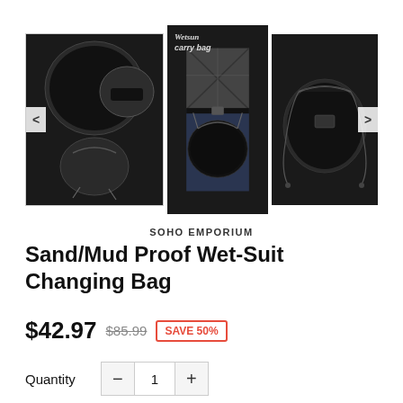[Figure (photo): Product images of a sand/mud proof wet-suit changing bag: left thumbnail shows three bag configurations (flat round mat, round bag, drawstring pouch), center shows person wearing/holding the bag, right shows the bag drawn closed with drawstrings]
SOHO EMPORIUM
Sand/Mud Proof Wet-Suit Changing Bag
$42.97  $85.99  SAVE 50%
Quantity  -  1  +